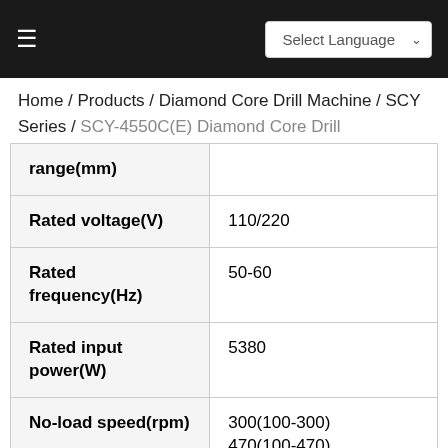Select Language
Home / Products / Diamond Core Drill Machine / SCY Series / SCY-4550C(E) Diamond Core Drill
| Parameter | Value |
| --- | --- |
| range(mm) |  |
| Rated voltage(V) | 110/220 |
| Rated frequency(Hz) | 50-60 |
| Rated input power(W) | 5380 |
| No-load speed(rpm) | 300(100-300)
470(100-470) |